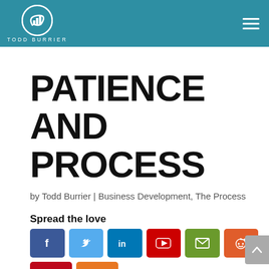TODD BURRIER
PATIENCE AND PROCESS
by Todd Burrier | Business Development, The Process
Spread the love
[Figure (infographic): Social share buttons: Facebook, Twitter, LinkedIn, YouTube, Email, Reddit, Pinterest, Share]